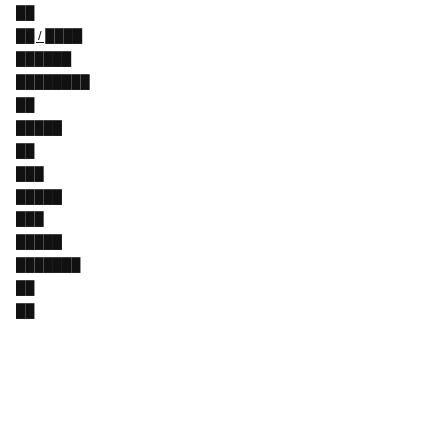██
██ / ████
██████
████████
██
█████
██
███
█████
███
█████
███████
██
██